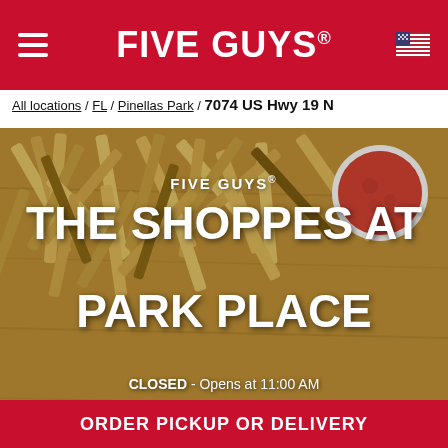FIVE GUYS
All locations / FL / Pinellas Park / 7074 US Hwy 19 N
[Figure (photo): Hero image of Five Guys french fries piled on a wooden surface with a cup of ketchup, overlaid with text: FIVE GUYS® THE SHOPPES AT PARK PLACE, CLOSED - Opens at 11:00 AM]
FIVE GUYS®
THE SHOPPES AT PARK PLACE
CLOSED - Opens at 11:00 AM
ORDER PICKUP OR DELIVERY